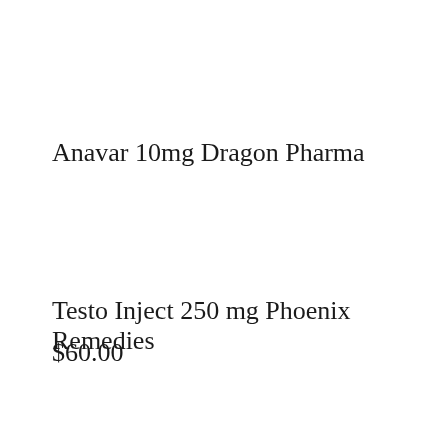Anavar 10mg Dragon Pharma
Testo Inject 250 mg Phoenix Remedies
$60.00